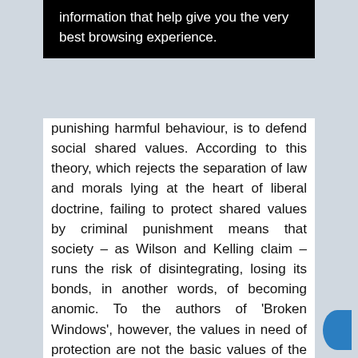[Figure (screenshot): Cookie consent banner with black background and white text reading 'information that help give you the very best browsing experience.']
punishing harmful behaviour, is to defend social shared values. According to this theory, which rejects the separation of law and morals lying at the heart of liberal doctrine, failing to protect shared values by criminal punishment means that society – as Wilson and Kelling claim – runs the risk of disintegrating, losing its bonds, in another words, of becoming anomic. To the authors of 'Broken Windows', however, the values in need of protection are not the basic values of the social structure, those grounding the social contract in Locke's and Beccaria's theories: their protection is a by-product. What is to be secured directly is the external value of a clean and orderly environment for social